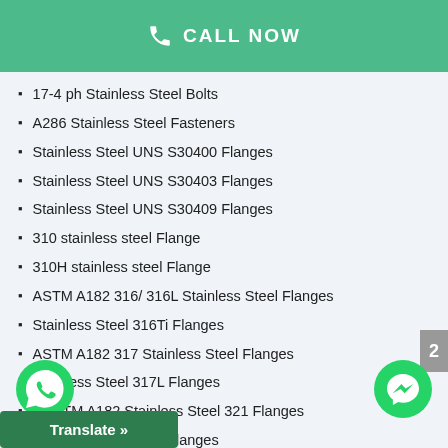CALL NOW
17-4 ph Stainless Steel Bolts
A286 Stainless Steel Fasteners
Stainless Steel UNS S30400 Flanges
Stainless Steel UNS S30403 Flanges
Stainless Steel UNS S30409 Flanges
310 stainless steel Flange
310H stainless steel Flange
ASTM A182 316/ 316L Stainless Steel Flanges
Stainless Steel 316Ti Flanges
ASTM A182 317 Stainless Steel Flanges
Stainless Steel 317L Flanges
ASTM A182 Stainless Steel 321 Flanges
Stainless Steel 347 Flanges
Stainless Steel 347H Flanges